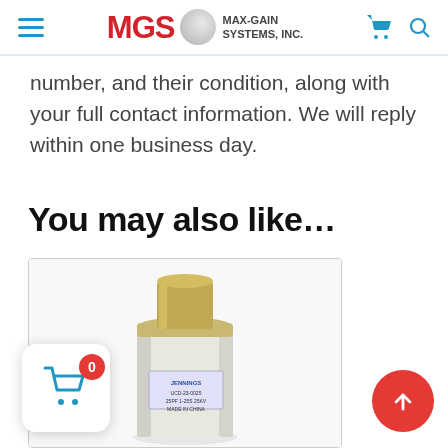MGS MAX-GAIN SYSTEMS, INC.
number, and their condition, along with your full contact information. We will reply within one business day.
You may also like…
[Figure (photo): Product photo of a Jennings vacuum capacitor, cylindrical white ceramic body with metal top cap, label visible on side]